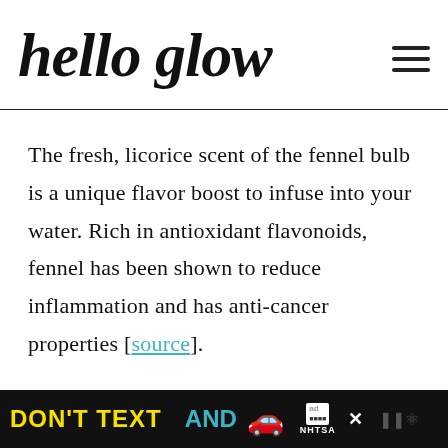hello glow
The fresh, licorice scent of the fennel bulb is a unique flavor boost to infuse into your water. Rich in antioxidant flavonoids, fennel has been shown to reduce inflammation and has anti-cancer properties [source].
An excellent source of vitamin C, the
[Figure (other): Advertisement banner: DON'T TEXT AND [car emoji] with ad badge and NHTSA logo on black background]